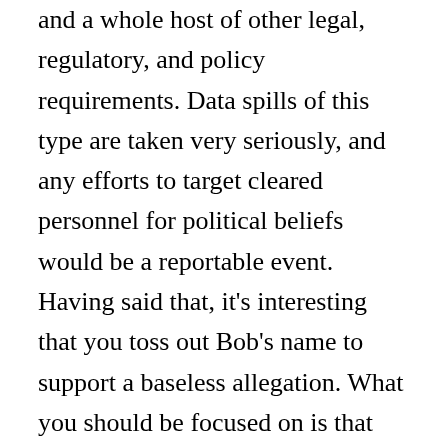and a whole host of other legal, regulatory, and policy requirements. Data spills of this type are taken very seriously, and any efforts to target cleared personnel for political beliefs would be a reportable event. Having said that, it's interesting that you toss out Bob's name to support a baseless allegation. What you should be focused on is that the rules for obtaining and maintaining a Top Secret security clearance are *not* the same for all. You need to reread your SF-86 terms and conditions, boss – because, in signing that agreement you agreed to a multitude of things including neither supporting